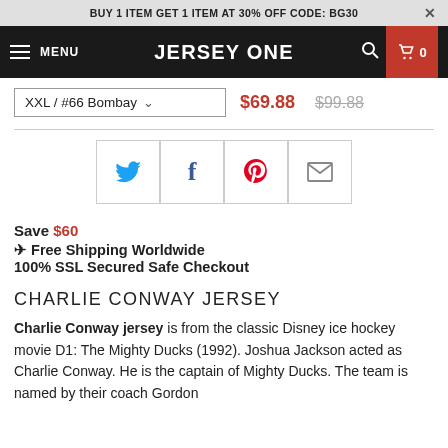BUY 1 ITEM GET 1 ITEM AT 30% OFF CODE: BG30
MENU   JERSEY ONE   0
XXL / #66 Bombay   $69.88  $99.88
[Figure (other): Social sharing buttons: Twitter, Facebook, Pinterest, Email]
Save $60
✈ Free Shipping Worldwide
100% SSL Secured Safe Checkout
CHARLIE CONWAY JERSEY
Charlie Conway jersey is from the classic Disney ice hockey movie D1: The Mighty Ducks (1992). Joshua Jackson acted as Charlie Conway. He is the captain of Mighty Ducks. The team is named by their coach Gordon